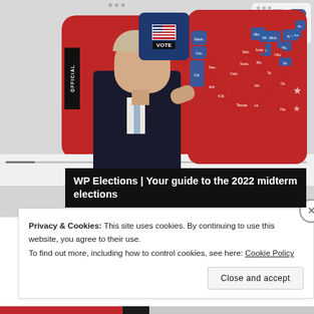[Figure (screenshot): Screenshot of a video player showing a thumbnail with President Biden speaking in front of a US electoral map, with a 'VOTE' ballot box graphic. The video title overlay reads 'WP Elections | Your guide to the 2022 midterm elections'. Playback controls and progress bar are visible.]
WP Elections | Your guide to the 2022 midterm elections
Privacy & Cookies: This site uses cookies. By continuing to use this website, you agree to their use.
To find out more, including how to control cookies, see here: Cookie Policy
Close and accept